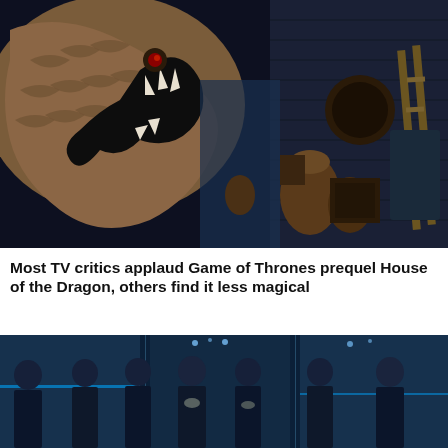[Figure (photo): A large dragon sculpture head prop in a dimly lit storage or set space, with various props including pottery, baskets, a wooden crate, and decorative panels visible in the background. The scene has a dark, cinematic blue tone.]
Most TV critics applaud Game of Thrones prequel House of the Dragon, others find it less magical
[Figure (photo): Seven young men dressed in black leather outfits posing in a row against a blue-tinted metallic background with blue neon lights. The style suggests a K-pop group promotional photo.]